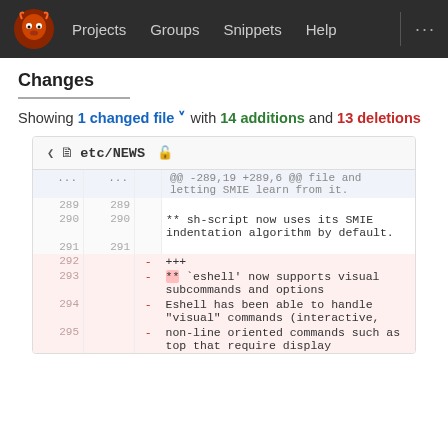Projects  Groups  Snippets  Help  ...
Changes
Showing 1 changed file ˅ with 14 additions and 13 deletions
| old | new | content |
| --- | --- | --- |
| ... | ... | @@ -289,19 +289,6 @@ file and letting SMIE learn from it. |
| 289 | 289 |  |
| 290 | 290 | ** sh-script now uses its SMIE indentation algorithm by default. |
| 291 | 291 |  |
| 292 |  | - +++ |
| 293 |  | - ** `eshell' now supports visual subcommands and options |
| 294 |  | - Eshell has been able to handle "visual" commands (interactive, |
| 295 |  | - non-line oriented commands such as top that require display |